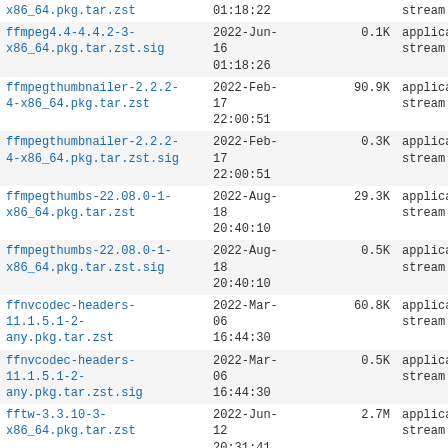| Filename | Date/Time | Size | Type |
| --- | --- | --- | --- |
| x86_64.pkg.tar.zst | 01:18:22 |  | stream |
| ffmpeg4.4-4.4.2-3-x86_64.pkg.tar.zst.sig | 2022-Jun-16
01:18:26 | 0.1K | application/oct
stream |
| ffmpegthumbnailer-2.2.2-4-x86_64.pkg.tar.zst | 2022-Feb-17
22:00:51 | 90.9K | application/oct
stream |
| ffmpegthumbnailer-2.2.2-4-x86_64.pkg.tar.zst.sig | 2022-Feb-17
22:00:51 | 0.3K | application/oct
stream |
| ffmpegthumbs-22.08.0-1-x86_64.pkg.tar.zst | 2022-Aug-18
20:40:10 | 29.3K | application/oct
stream |
| ffmpegthumbs-22.08.0-1-x86_64.pkg.tar.zst.sig | 2022-Aug-18
20:40:10 | 0.5K | application/oct
stream |
| ffnvcodec-headers-11.1.5.1-2-any.pkg.tar.zst | 2022-Mar-06
16:44:30 | 60.8K | application/oct
stream |
| ffnvcodec-headers-11.1.5.1-2-any.pkg.tar.zst.sig | 2022-Mar-06
16:44:30 | 0.5K | application/oct
stream |
| fftw-3.3.10-3-x86_64.pkg.tar.zst | 2022-Jun-12
20:31:41 | 2.7M | application/oct
stream |
| fftw-3.3.10-3-x86_64.pkg.tar.zst.sig | 2022-Jun-12
20:31:41 | 0.1K | application/oct
stream |
| figlet-2.2.5-4-x86_64.pkg.tar.zst | 2020-May-16
14:14:49 | 107.4K | application/oct
stream |
| figlet-2.2.5-4-... | 2020-May-... |  | application/oct
stream |